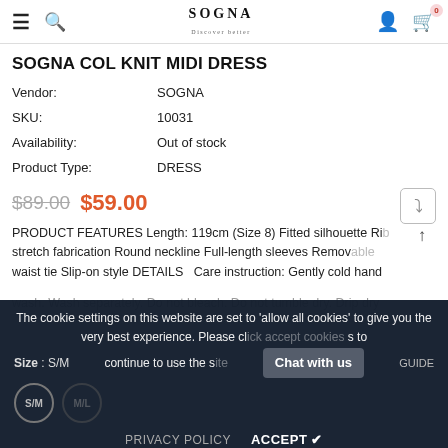SOGNA COL KNIT MIDI DRESS - SOGNA website navigation header
SOGNA COL KNIT MIDI DRESS
Vendor: SOGNA
SKU: 10031
Availability: Out of stock
Product Type: DRESS
$89.00  $59.00
PRODUCT FEATURES Length: 119cm (Size 8) Fitted silhouette Rib stretch fabrication Round neckline Full-length sleeves Removable waist tie Slip-on style DETAILS  Care instruction: Gently cold hand wash. Wash separately. Do not bleach. Do not tumble dry. Drip dry in the shade. Iron on cool setting. Dry clean only.
Size : S/M
The cookie settings on this website are set to 'allow all cookies' to give you the very best experience. Please click Accept cookies to continue to use the site.
PRIVACY POLICY   ACCEPT ✔